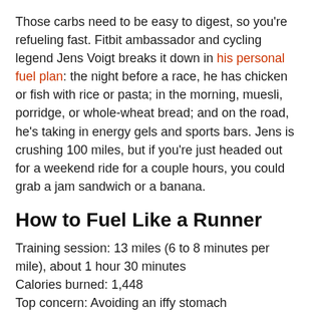Those carbs need to be easy to digest, so you're refueling fast. Fitbit ambassador and cycling legend Jens Voigt breaks it down in his personal fuel plan: the night before a race, he has chicken or fish with rice or pasta; in the morning, muesli, porridge, or whole-wheat bread; and on the road, he's taking in energy gels and sports bars. Jens is crushing 100 miles, but if you're just headed out for a weekend ride for a couple hours, you could grab a jam sandwich or a banana.
How to Fuel Like a Runner
Training session: 13 miles (6 to 8 minutes per mile), about 1 hour 30 minutes
Calories burned: 1,448
Top concern: Avoiding an iffy stomach